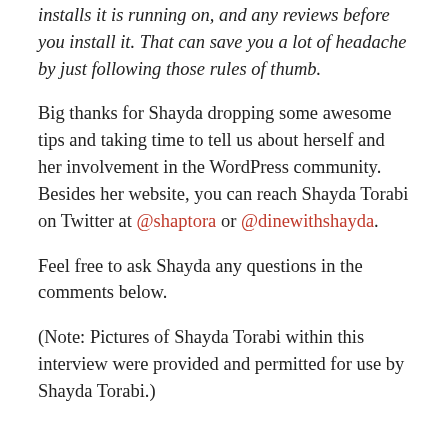installs it is running on, and any reviews before you install it. That can save you a lot of headache by just following those rules of thumb.
Big thanks for Shayda dropping some awesome tips and taking time to tell us about herself and her involvement in the WordPress community. Besides her website, you can reach Shayda Torabi on Twitter at @shaptora or @dinewithshayda.
Feel free to ask Shayda any questions in the comments below.
(Note: Pictures of Shayda Torabi within this interview were provided and permitted for use by Shayda Torabi.)